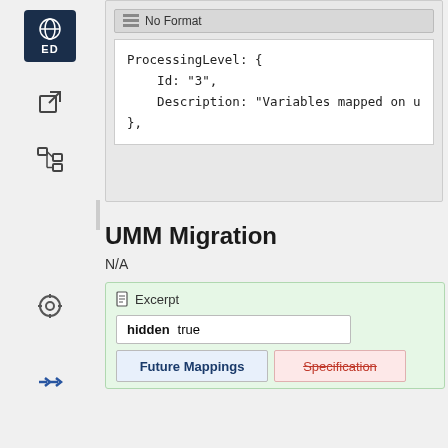[Figure (screenshot): Code block showing ProcessingLevel JSON snippet with No Format toolbar button]
UMM Migration
N/A
[Figure (screenshot): Excerpt panel with hidden=true row and Future Mappings / Specification columns]